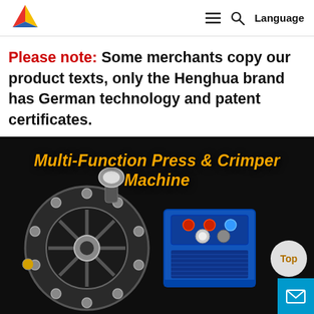Navigation bar with logo, menu icon, search icon, Language button
Please note: Some merchants copy our product texts, only the Henghua brand has German technology and patent certificates.
[Figure (photo): Product photo of Multi-Function Press & Crimper Machine on dark background with orange bold text title overlay. Shows a circular crimper head and blue control box machine.]